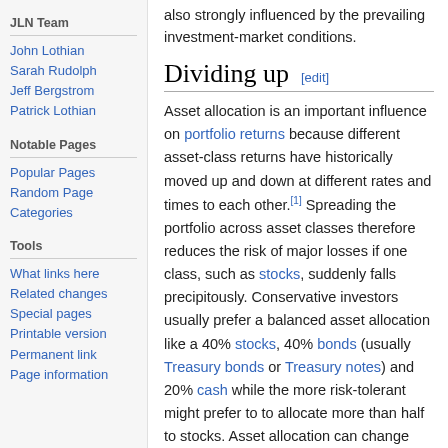JLN Team
John Lothian
Sarah Rudolph
Jeff Bergstrom
Patrick Lothian
Notable Pages
Popular Pages
Random Page
Categories
Tools
What links here
Related changes
Special pages
Printable version
Permanent link
Page information
also strongly influenced by the prevailing investment-market conditions.
Dividing up [edit]
Asset allocation is an important influence on portfolio returns because different asset-class returns have historically moved up and down at different rates and times to each other.[1] Spreading the portfolio across asset classes therefore reduces the risk of major losses if one class, such as stocks, suddenly falls precipitously. Conservative investors usually prefer a balanced asset allocation like a 40% stocks, 40% bonds (usually Treasury bonds or Treasury notes) and 20% cash while the more risk-tolerant might prefer to to allocate more than half to stocks. Asset allocation can change over the portfolio's time